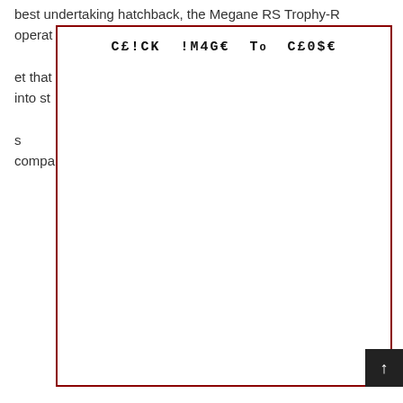best undertaking hatchback, the Megane RS Trophy-R operat et that into st s compa
[Figure (other): Placeholder image box with red border and text 'CE!CK !M4GE To CE0$E' in the center top area]